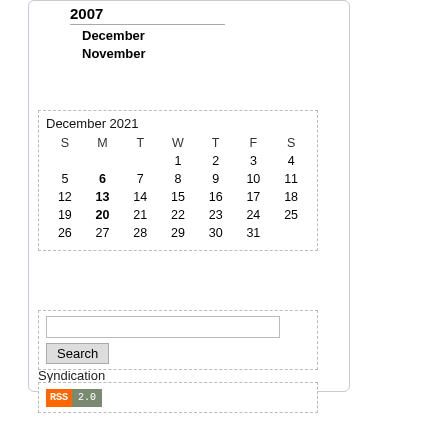2007
December
November
| S | M | T | W | T | F | S |
| --- | --- | --- | --- | --- | --- | --- |
|  |  |  | 1 | 2 | 3 | 4 |
| 5 | 6 | 7 | 8 | 9 | 10 | 11 |
| 12 | 13 | 14 | 15 | 16 | 17 | 18 |
| 19 | 20 | 21 | 22 | 23 | 24 | 25 |
| 26 | 27 | 28 | 29 | 30 | 31 |  |
December 2021
[Figure (other): Search input box]
Search
Syndication
[Figure (other): RSS 2.0 badge]